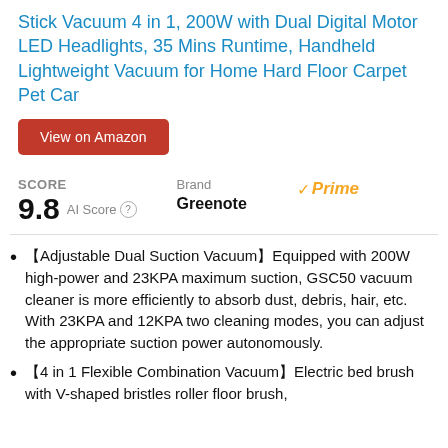Stick Vacuum 4 in 1, 200W with Dual Digital Motor LED Headlights, 35 Mins Runtime, Handheld Lightweight Vacuum for Home Hard Floor Carpet Pet Car
View on Amazon
SCORE 9.8 AI Score | Brand Greenote | Prime
🔲Adjustable Dual Suction Vacuum🔲Equipped with 200W high-power and 23KPA maximum suction, GSC50 vacuum cleaner is more efficiently to absorb dust, debris, hair, etc. With 23KPA and 12KPA two cleaning modes, you can adjust the appropriate suction power autonomously.
🔲4 in 1 Flexible Combination Vacuum🔲Electric bed brush with V-shaped bristles roller floor brush,